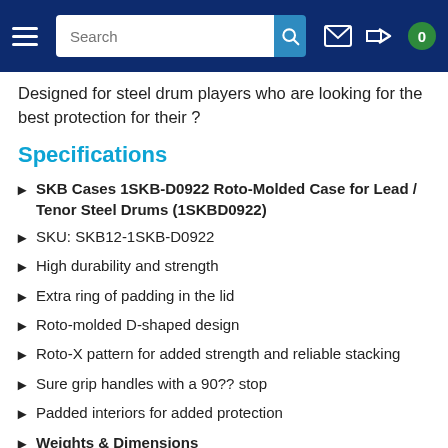Navigation bar with search, mail, login, and cart icons
Designed for steel drum players who are looking for the best protection for their ?
Specifications
SKB Cases 1SKB-D0922 Roto-Molded Case for Lead / Tenor Steel Drums (1SKBD0922)
SKU: SKB12-1SKB-D0922
High durability and strength
Extra ring of padding in the lid
Roto-molded D-shaped design
Roto-X pattern for added strength and reliable stacking
Sure grip handles with a 90?? stop
Padded interiors for added protection
Weights & Dimensions
Interior Depth: 9.00 in / 22.86 cm
Exterior Width: 25.50 in / 64.77 cm
Exterior Depth: 10.25 in / 26.04 cm